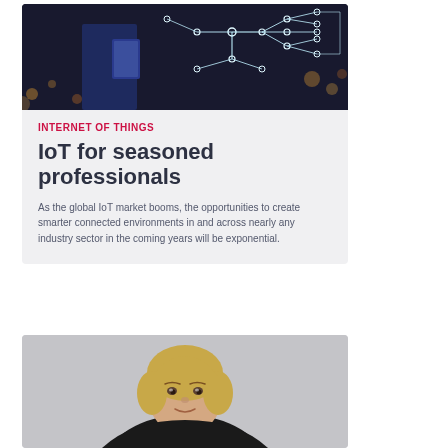[Figure (photo): Person holding a phone with glowing IoT circuit network overlay, dark night city background]
INTERNET OF THINGS
IoT for seasoned professionals
As the global IoT market booms, the opportunities to create smarter connected environments in and across nearly any industry sector in the coming years will be exponential.
[Figure (photo): Professional headshot of a blonde woman smiling, grey background, black top]